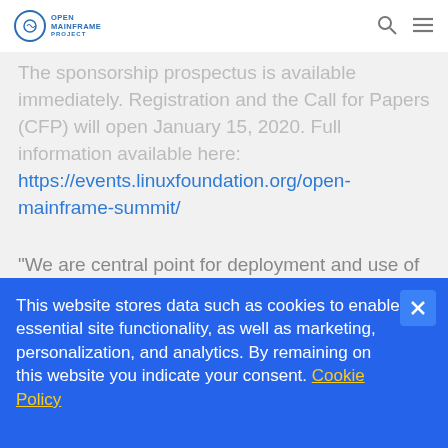Open Mainframe Project
The sponsorship prospectus is available immediately. Registration and the Call for Papers (CFP) will open January 15, 2020. Full information available here: https://events.linuxfoundation.org/open-mainframe-summit/
"We are central point for deployment and use of Linux and open source software on mainframes, and the Open Mainframe Summit will be a key opportunity for focused learning and networking opportunities in this space," said John Mertic, Director of Program Management for the Linux Foundation and
This website stores data such as cookies to enable essential site functionality, as well as marketing, personalization, and analytics. By remaining on this website you indicate your consent. Cookie Policy